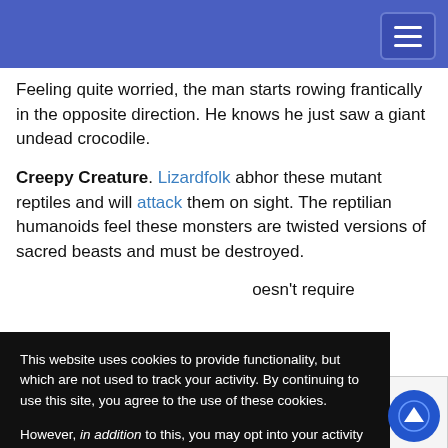[Navigation bar with hamburger menu]
Feeling quite worried, the man starts rowing frantically in the opposite direction. He knows he just saw a giant undead crocodile.
Creepy Creature. Lizardfolk abhor these mutant reptiles and will attack them on sight. The reptilian humanoids feel these monsters are twisted versions of sacred beasts and must be destroyed.
...doesn't require
[Figure (screenshot): Cookie consent overlay on black background with text about cookies and OK/No thank you buttons]
s for 5th Edition
Cawood
ll license for this